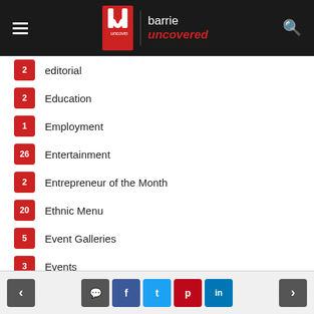barrie uncovered
2 editorial
2 Education
1 Employment
26 Entertainment
2 Entrepreneur of the Month
20 Ethnic Menu
5 Event Galleries
3 Events
52 Families
5 fashion
< comment f t p in >